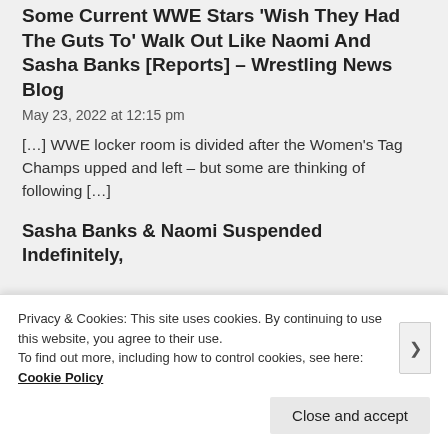Some Current WWE Stars 'Wish They Had The Guts To' Walk Out Like Naomi And Sasha Banks [Reports] – Wrestling News Blog
May 23, 2022 at 12:15 pm
[…] WWE locker room is divided after the Women's Tag Champs upped and left – but some are thinking of following […]
Sasha Banks & Naomi Suspended Indefinitely,
Privacy & Cookies: This site uses cookies. By continuing to use this website, you agree to their use. To find out more, including how to control cookies, see here: Cookie Policy